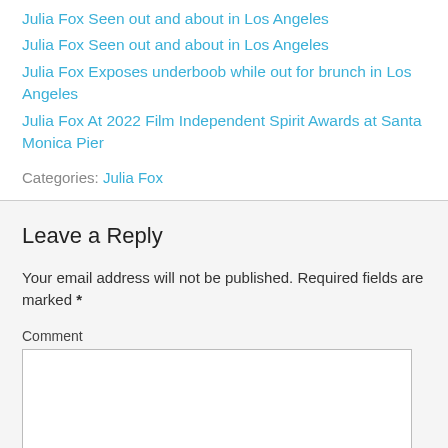Julia Fox Seen out and about in Los Angeles
Julia Fox Seen out and about in Los Angeles
Julia Fox Exposes underboob while out for brunch in Los Angeles
Julia Fox At 2022 Film Independent Spirit Awards at Santa Monica Pier
Categories: Julia Fox
Leave a Reply
Your email address will not be published. Required fields are marked *
Comment
Notify me of followup comments via e-mail